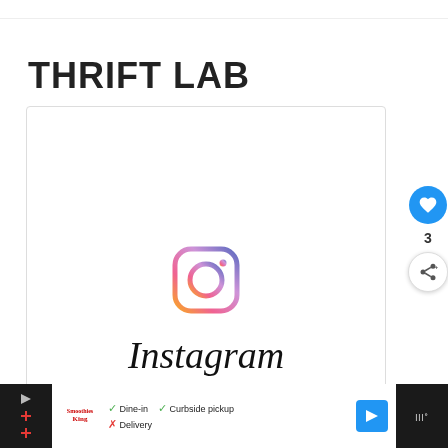THRIFT LAB
[Figure (screenshot): A white card/box containing the Instagram logo (colorful camera icon) and the Instagram wordmark in script font below it. On the right side are interactive buttons: a blue heart button, a count of 3, and a share button.]
[Figure (logo): Advertisement bar at the bottom: dark background on sides, white center with Smoothie King logo, dine-in/curbside pickup/delivery options with check/X marks, a blue navigation arrow icon, and a dark right panel with the Wordsmith logo.]